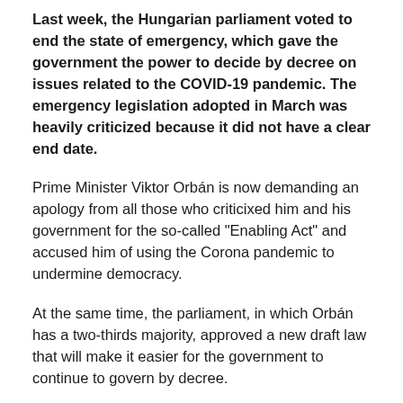Last week, the Hungarian parliament voted to end the state of emergency, which gave the government the power to decide by decree on issues related to the COVID-19 pandemic. The emergency legislation adopted in March was heavily criticized because it did not have a clear end date.
Prime Minister Viktor Orbán is now demanding an apology from all those who criticixed him and his government for the so-called "Enabling Act" and accused him of using the Corona pandemic to undermine democracy.
At the same time, the parliament, in which Orbán has a two-thirds majority, approved a new draft law that will make it easier for the government to continue to govern by decree.
When the Hungarian government announced that it would end the state of emergency and return its special powers to parliament, critics described the move as a political ploy: at the same time as the emergency was lifted, parliament also